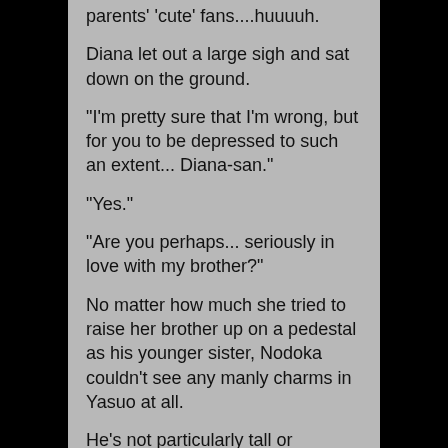parents' 'cute' fans....huuuuh.
Diana let out a large sigh and sat down on the ground.
“I’m pretty sure that I’m wrong, but for you to be depressed to such an extent... Diana-san.”
“Yes.”
“Are you perhaps... seriously in love with my brother?”
No matter how much she tried to raise her brother up on a pedestal as his younger sister, Nodoka couldn’t see any manly charms in Yasuo at all.
He’s not particularly tall or handsome. He’s not good at sports, and his personality is vague. He’s not fat, but he doesn’t have a stunning physique or anything. He’s already eighteen years old, but